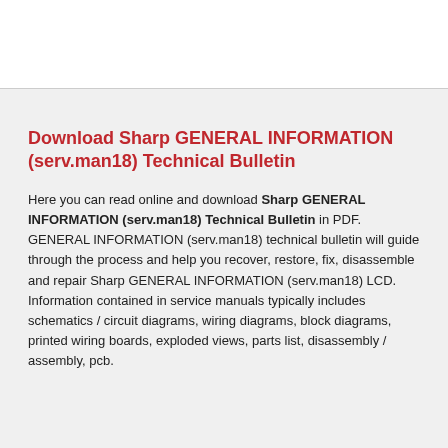Download Sharp GENERAL INFORMATION (serv.man18) Technical Bulletin
Here you can read online and download Sharp GENERAL INFORMATION (serv.man18) Technical Bulletin in PDF. GENERAL INFORMATION (serv.man18) technical bulletin will guide through the process and help you recover, restore, fix, disassemble and repair Sharp GENERAL INFORMATION (serv.man18) LCD. Information contained in service manuals typically includes schematics / circuit diagrams, wiring diagrams, block diagrams, printed wiring boards, exploded views, parts list, disassembly / assembly, pcb.